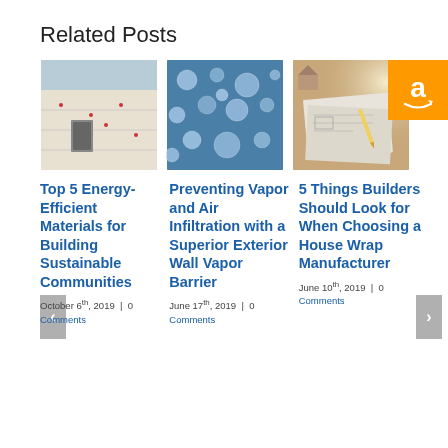Related Posts
[Figure (photo): House exterior with insulation panels on wall]
[Figure (photo): Water droplets on glass surface close-up]
[Figure (photo): Blueprint and architectural tools on desk]
[Figure (logo): Amazon logo orange badge]
Top 5 Energy-Efficient Materials for Building Sustainable Communities
October 6th, 2019  |  0 Comments
Preventing Vapor and Air Infiltration with a Superior Exterior Wall Vapor Barrier
June 17th, 2019  |  0 Comments
5 Things Builders Should Look for When Choosing a House Wrap Manufacturer
June 10th, 2019  |  0 Comments